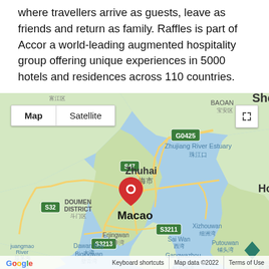where travellers arrive as guests, leave as friends and return as family. Raffles is part of Accor a world-leading augmented hospitality group offering unique experiences in 5000 hotels and residences across 110 countries.
[Figure (map): Google Map showing Macao/Zhuhai area in southern China, with a red location pin on Macao. Surrounding areas visible include Doumen District, Shenzhen (BAOAN), Hong Kong, Zhujiang River Estuary, Xizhouwan, Putouwan, Gangwazhou Bay, Dawan Bay, Erjingwan. Road labels: G0425, S47, S32, S3211, S3213. Map and Satellite toggle buttons visible. Google logo and map data footer shown.]